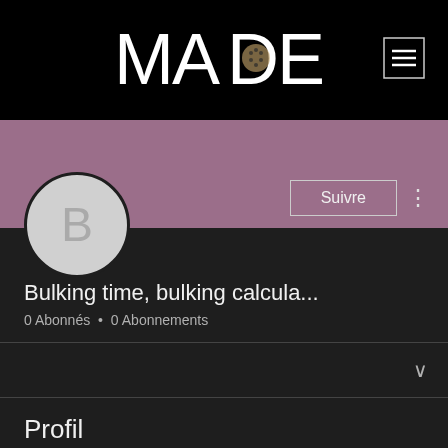[Figure (logo): MADE logo in white stylized letters with decorative elements on black background, with hamburger menu icon top right]
[Figure (photo): Purple/mauve banner background with Suivre (Follow) button and three-dot menu icon, and circular avatar with letter B]
Bulking time, bulking calcula...
0 Abonnés • 0 Abonnements
Profil
A rejoint le : 21 juin 2022